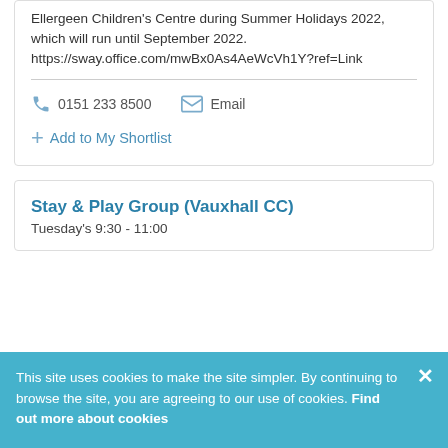Ellergeen Children's Centre during Summer Holidays 2022, which will run until September 2022. https://sway.office.com/mwBx0As4AeWcVh1Y?ref=Link
0151 233 8500
Email
Add to My Shortlist
Stay & Play Group (Vauxhall CC)
Tuesday's 9:30 - 11:00
This site uses cookies to make the site simpler. By continuing to browse the site, you are agreeing to our use of cookies. Find out more about cookies